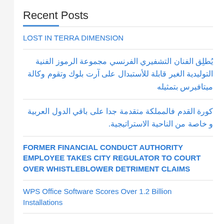Recent Posts
LOST IN TERRA DIMENSION
يُطلِق الفنان التشفيري الفرنسي مجموعة الرموز الفنية التوليدية الغير قابلة للأستبدال على آرت بلوك وتقوم وكالة ميتافيرس بتمثيله
كورة القدم فالمملكة متقدمة جدا على باقي الدول العربية و خاصة من الناحية الاستراتيجية.
FORMER FINANCIAL CONDUCT AUTHORITY EMPLOYEE TAKES CITY REGULATOR TO COURT OVER WHISTLEBLOWER DETRIMENT CLAIMS
WPS Office Software Scores Over 1.2 Billion Installations
Recent Comments